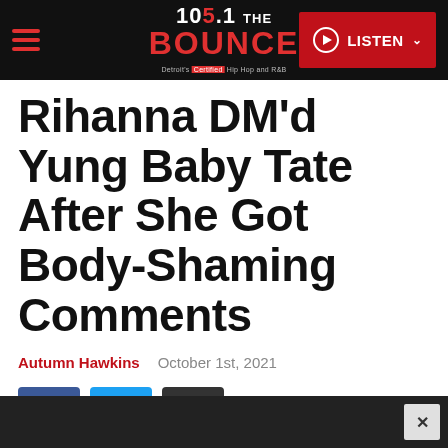105.1 THE BOUNCE — Detroit's Hip Hop and R&B — LISTEN
Rihanna DM'd Yung Baby Tate After She Got Body-Shaming Comments
Autumn Hawkins   October 1st, 2021
[Figure (other): Social share buttons: Facebook (blue), Twitter (light blue), Link/copy (dark gray)]